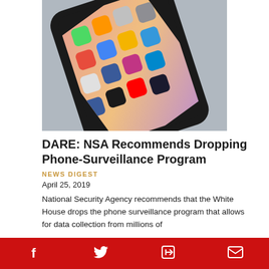[Figure (photo): A smartphone with a dark frame displayed diagonally showing a home screen with various app icons including Messages, Maps, Photos, Instagram, Facebook, YouTube, Telegram, Messenger, and others on a gradient pink/orange wallpaper, resting on a light gray surface.]
DARE: NSA Recommends Dropping Phone-Surveillance Program
NEWS DIGEST
April 25, 2019
National Security Agency recommends that the White House drops the phone surveillance program that allows for data collection from millions of
f  Twitter  in  Email